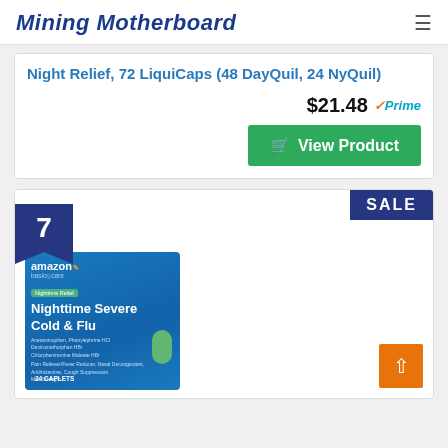Mining Motherboard
Night Relief, 72 LiquiCaps (48 DayQuil, 24 NyQuil)
$21.48 Prime
View Product
7
SALE
[Figure (photo): Amazon Basic Care Nighttime Severe Cold & Flu 24 Caplets product box in blue packaging]